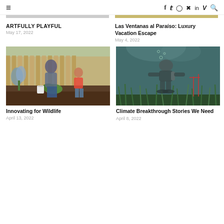≡  f  𝕏  ◎  𝕡  in  V  🔍
ARTFULLY PLAYFUL
May 17, 2022
Las Ventanas al Paraíso: Luxury Vacation Escape
May 4, 2022
[Figure (photo): Woman and young girl gardening together outdoors, planting in soil with wooden fence in background]
[Figure (photo): Scuba diver underwater near sea grass, blueish-green murky water]
Innovating for Wildlife
April 13, 2022
Climate Breakthrough Stories We Need
April 8, 2022